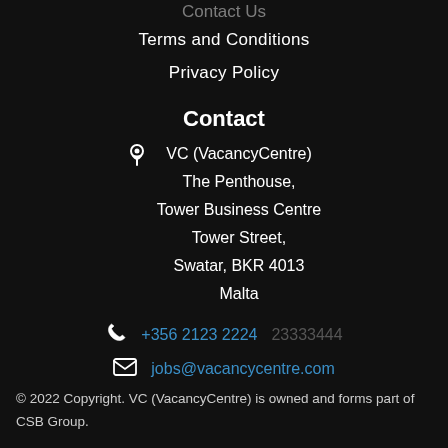Contact Us
Terms and Conditions
Privacy Policy
Contact
VC (VacancyCentre)
The Penthouse,
Tower Business Centre
Tower Street,
Swatar, BKR 4013
Malta
+356 2123 2224 [redacted]
jobs@vacancycentre.com
© 2022 Copyright. VC (VacancyCentre) is owned and forms part of CSB Group.